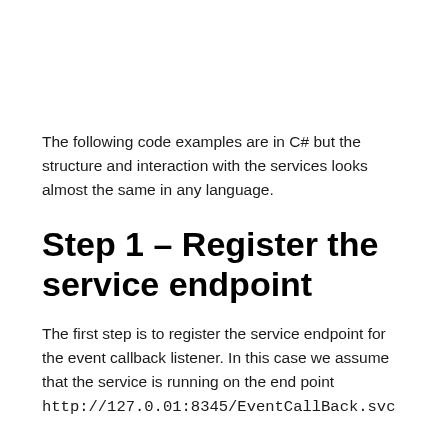The following code examples are in C# but the structure and interaction with the services looks almost the same in any language.
Step 1 – Register the service endpoint
The first step is to register the service endpoint for the event callback listener. In this case we assume that the service is running on the end point http://127.0.01:8345/EventCallBack.svc